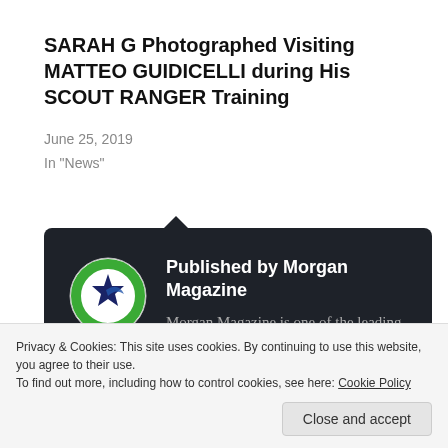SARAH G Photographed Visiting MATTEO GUIDICELLI during His SCOUT RANGER Training
June 25, 2019
In "News"
[Figure (infographic): Dark card with Morgan Magazine logo (circular logo with star and swoosh) and publisher description. Published by Morgan Magazine. Morgan Magazine is one of the leading and popular digital magazines in Asia. It is a guide to]
Privacy & Cookies: This site uses cookies. By continuing to use this website, you agree to their use.
To find out more, including how to control cookies, see here: Cookie Policy
Close and accept